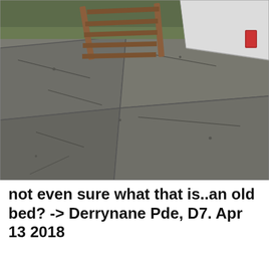[Figure (photo): Photograph of cracked concrete paving slabs in a backyard or garden area. In the upper portion, a wooden ladder or frame structure lies on the ground near what appears to be a mattress or white object. Green moss or grass is visible along the top edge. The paving is grey with visible cracks and joints between slabs.]
not even sure what that is..an old bed? -> Derrynane Pde, D7. Apr 13 2018